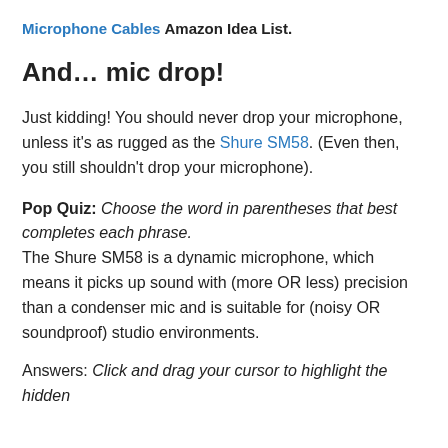Microphone Cables Amazon Idea List.
And… mic drop!
Just kidding! You should never drop your microphone, unless it's as rugged as the Shure SM58. (Even then, you still shouldn't drop your microphone).
Pop Quiz: Choose the word in parentheses that best completes each phrase.
The Shure SM58 is a dynamic microphone, which means it picks up sound with (more OR less) precision than a condenser mic and is suitable for (noisy OR soundproof) studio environments.
Answers: Click and drag your cursor to highlight the hidden